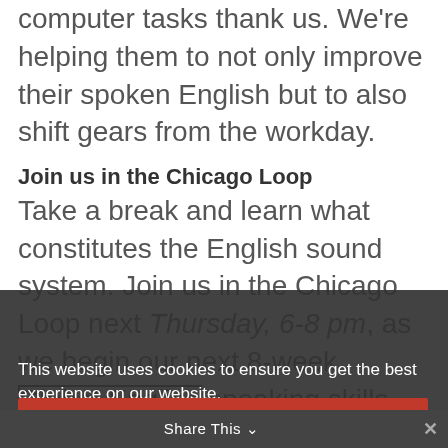computer tasks thank us. We're helping them to not only improve their spoken English but to also shift gears from the workday.
Join us in the Chicago Loop
Take a break and learn what constitutes the English sound system. Join us in the Chicago Loop next Thursday, 6-8 pm, as we begin our next 8-week Global-English speaking skills program on April 7.
This website uses cookies to ensure you get the best experience on our website.
Learn more
Got it!
Learn More
Share This  ×